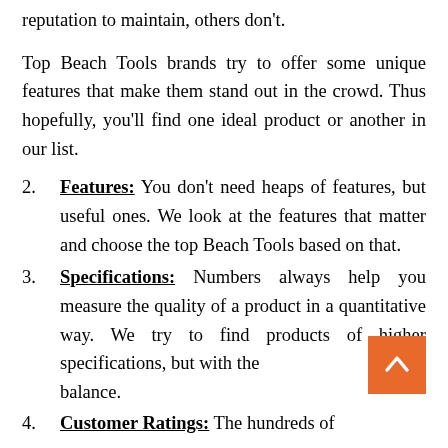reputation to maintain, others don't.
Top Beach Tools brands try to offer some unique features that make them stand out in the crowd. Thus hopefully, you'll find one ideal product or another in our list.
2. Features: You don't need heaps of features, but useful ones. We look at the features that matter and choose the top Beach Tools based on that.
3. Specifications: Numbers always help you measure the quality of a product in a quantitative way. We try to find products of higher specifications, but with the balance.
4. Customer Ratings: The hundreds of